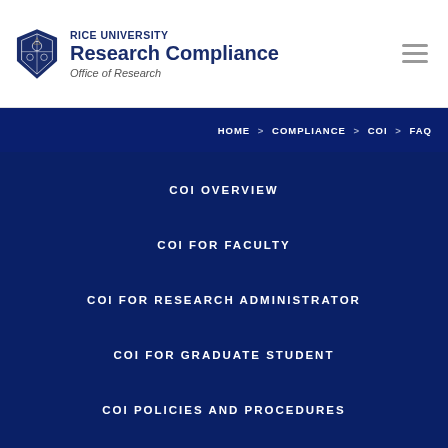RICE UNIVERSITY Research Compliance Office of Research
HOME > COMPLIANCE > COI > FAQ
COI OVERVIEW
COI FOR FACULTY
COI FOR RESEARCH ADMINISTRATOR
COI FOR GRADUATE STUDENT
COI POLICIES AND PROCEDURES